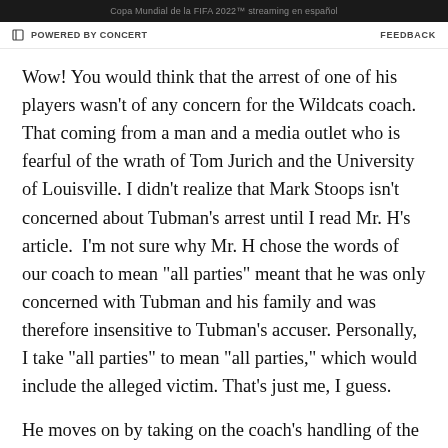[Figure (other): Dark advertisement bar for Copa Mundial de la FIFA 2022 streaming en español]
POWERED BY CONCERT    FEEDBACK
Wow! You would think that the arrest of one of his players wasn't of any concern for the Wildcats coach. That coming from a man and a media outlet who is fearful of the wrath of Tom Jurich and the University of Louisville. I didn't realize that Mark Stoops isn't concerned about Tubman's arrest until I read Mr. H's article.  I'm not sure why Mr. H chose the words of our coach to mean "all parties" meant that he was only concerned with Tubman and his family and was therefore insensitive to Tubman's accuser. Personally, I take "all parties" to mean "all parties," which would include the alleged victim. That's just me, I guess.
He moves on by taking on the coach's handling of the four players from last week's air gun incident. He thinks